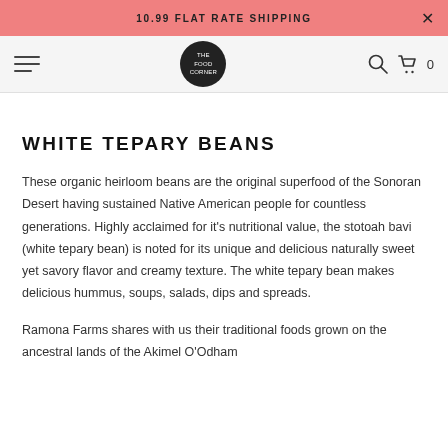10.99 FLAT RATE SHIPPING
[Figure (logo): The Food Corner logo: circular black badge with white text]
WHITE TEPARY BEANS
These organic heirloom beans are the original superfood of the Sonoran Desert having sustained Native American people for countless generations. Highly acclaimed for it's nutritional value, the stotoah bavi (white tepary bean) is noted for its unique and delicious naturally sweet yet savory flavor and creamy texture. The white tepary bean makes delicious hummus, soups, salads, dips and spreads.
Ramona Farms shares with us their traditional foods grown on the ancestral lands of the Akimel O'Odham